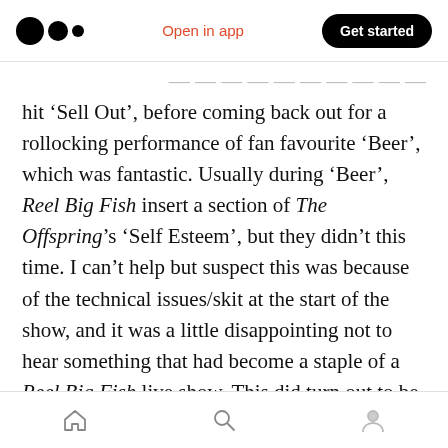Medium logo | Open in app | Get started
hit ‘Sell Out’, before coming back out for a rollocking performance of fan favourite ‘Beer’, which was fantastic. Usually during ‘Beer’, Reel Big Fish insert a section of The Offspring’s ‘Self Esteem’, but they didn’t this time. I can’t help but suspect this was because of the technical issues/skit at the start of the show, and it was a little disappointing not to hear something that had become a staple of a Reel Big Fish live show. This did turn out to be the only problem in an otherwise stellar show, so it’s not all bad. By the way, we have an interview with Reel Big Fish’s
Home | Search | Profile